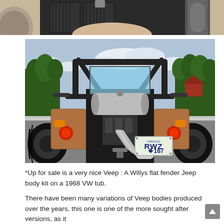[Figure (photo): Partial top photo showing interior/seat area of a vehicle, cropped at top edge of page]
[Figure (photo): Rear view of a Willys flat fender Jeep body kit (Veep) on a 1968 VW tub, showing Oregon license plate RWZ 167, roll bar, exposed engine/exhaust, tail lights, and large off-road tires, parked on a gravel lot with trees and cloudy sky in background]
*Up for sale is a very nice Veep : A Willys flat fender Jeep body kit on a 1968 VW tub.
There have been many variations of Veep bodies produced over the years, this one is one of the more sought after versions, as it